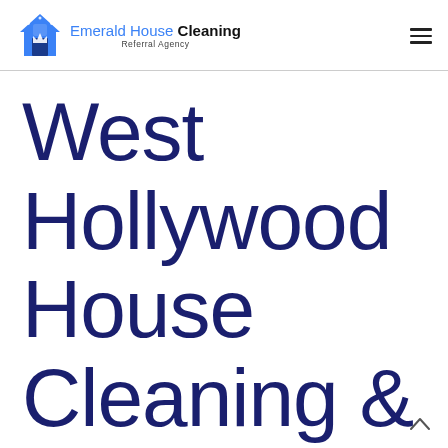Emerald House Cleaning Referral Agency
West Hollywood House Cleaning & Maid Service